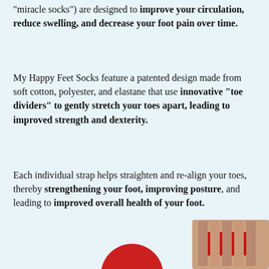“miracle socks”) are designed to improve your circulation, reduce swelling, and decrease your foot pain over time.
My Happy Feet Socks feature a patented design made from soft cotton, polyester, and elastane that use innovative “toe dividers” to gently stretch your toes apart, leading to improved strength and dexterity.
Each individual strap helps straighten and re-align your toes, thereby strengthening your foot, improving posture, and leading to improved overall health of your foot.
[Figure (photo): Partial image showing a red circular object on the left and what appears to be a person's foot/toes wearing a toe separator sock on the right, partially cropped at the bottom of the page.]